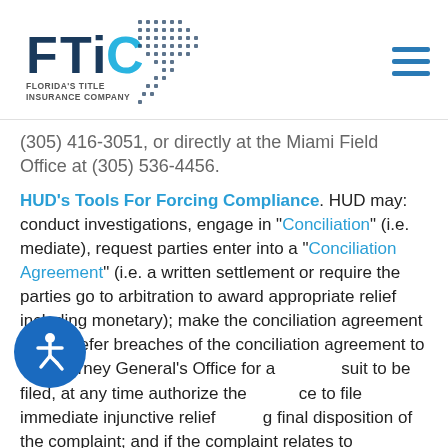[Figure (logo): FTIC - Florida's Title Insurance Company logo with Florida state map graphic]
(305) 416-3051, or directly at the Miami Field Office at (305) 536-4456.
HUD's Tools For Forcing Compliance. HUD may: conduct investigations, engage in "Conciliation" (i.e. mediate), request parties enter into a "Conciliation Agreement" (i.e. a written settlement or require the parties go to arbitration to award appropriate relief including monetary); make the conciliation agreement public, refer breaches of the conciliation agreement to the Attorney General's Office for a suit to be filed, at any time authorize the ce to file immediate injunctive relief g final disposition of the complaint; and if the complaint relates to discriminatory housing